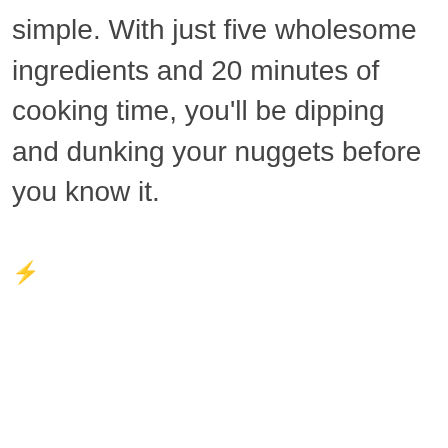simple. With just five wholesome ingredients and 20 minutes of cooking time, you'll be dipping and dunking your nuggets before you know it.
⚡